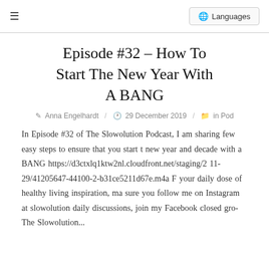≡  Languages
Episode #32 – How To Start The New Year With A BANG
Anna Engelhardt  /  29 December 2019  /  in Pod
In Episode #32 of The Slowolution Podcast, I am sharing few easy steps to ensure that you start the new year and decade with a BANG https://d3ctxlq1ktw2nl.cloudfront.net/staging/2 11-29/41205647-44100-2-b31ce5211d67e.m4a F your daily dose of healthy living inspiration, ma sure you follow me on Instagram at slowolution daily discussions, join my Facebook closed grou The Slowolution...